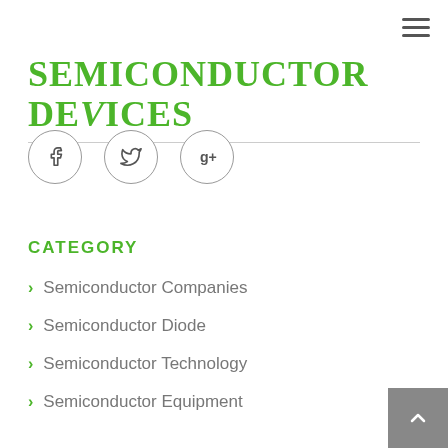≡
SEMICONDUCTOR DEVICES
[Figure (other): Three social media icon circles: Facebook (f), Twitter (bird), Google+ (g+)]
CATEGORY
Semiconductor Companies
Semiconductor Diode
Semiconductor Technology
Semiconductor Equipment